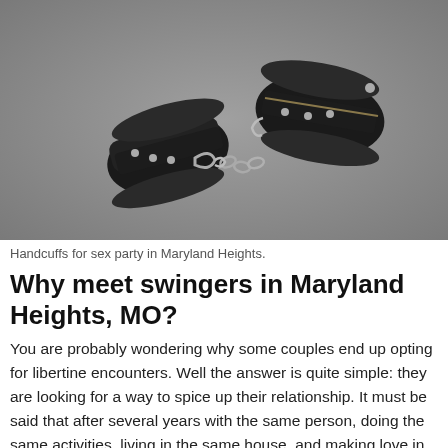[Figure (photo): Two black leather fuzzy-lined handcuffs with silver studs and a metal chain connector, on a gray background.]
Handcuffs for sex party in Maryland Heights.
Why meet swingers in Maryland Heights, MO?
You are probably wondering why some couples end up opting for libertine encounters. Well the answer is quite simple: they are looking for a way to spice up their relationship. It must be said that after several years with the same person, doing the same activities, living in the same house, and making love in the same way, one ends up getting bored. Some people have the courage to admit it to themselves and to talk about it to their spouse without